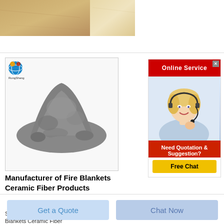[Figure (photo): Top banner showing beige/tan stone or ceramic material texture]
[Figure (photo): Product image of gray ceramic fiber powder/material heap with RongSheng brand logo in top-left corner]
Manufacturer of Fire Blankets Ceramic Fiber Products
Shree Firepack Safety Private LimitedFire Blankets Ceramic Fiber
[Figure (photo): Online Service advertisement banner with red header, photo of smiling blonde woman with headset, and Free Chat button. Text: 'Online Service', 'Need Quotation & Suggestion?', 'Free Chat']
Get a Quote
Chat Now